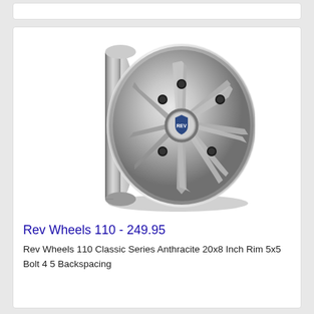[Figure (photo): A silver/chrome Rev Wheels 110 Classic Series automotive wheel rim, shown at a 3/4 angle, with multiple spokes, polished lip, and REV center cap logo.]
Rev Wheels 110 - 249.95
Rev Wheels 110 Classic Series Anthracite 20x8 Inch Rim 5x5 Bolt 4 5 Backspacing